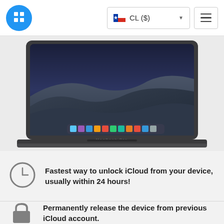[Figure (screenshot): Website header with blue circle logo containing a grid/sim card icon, a country selector showing CL ($) with Chilean flag, and a hamburger menu button]
[Figure (photo): MacBook Pro laptop shown open from front, displaying macOS Mojave dark desert wallpaper with sand dunes, and dock with app icons visible at bottom]
Fastest way to unlock iCloud from your device, usually within 24 hours!
Permanently release the device from previous iCloud account.